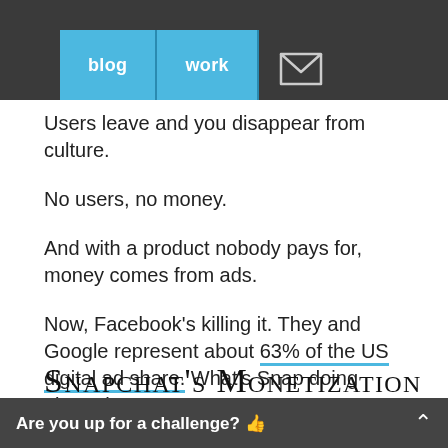blog  work
Users leave and you disappear from culture.
No users, no money.
And with a product nobody pays for, money comes from ads.
Now, Facebook's killing it. They and Google represent about 63% of the US digital ad share. What's Snap doing about that?
Snapchat's Monetization
Are you up for a challenge? 👍